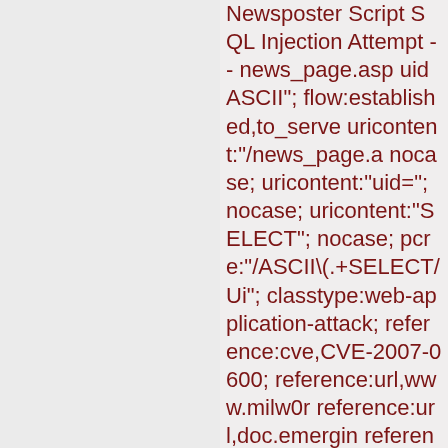Newsposter Script SQL Injection Attempt -- news_page.asp uid ASCII"; flow:established,to_server; uricontent:"/news_page.a nocase; uricontent:"uid="; nocase; uricontent:"SELECT"; nocase; pcre:"/ASCII\(.+SELECT/Ui"; classtype:web-application-attack; reference:cve,CVE-2007-0600; reference:url,www.milw0r reference:url,doc.emergin reference:url,www.emergi bin/cvsweb.cgi/sigs/WEB_ sid:2005145; rev:4;)